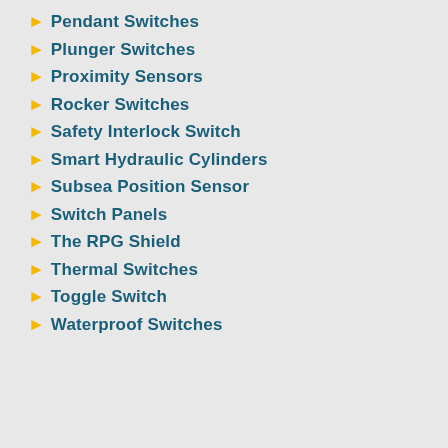Pendant Switches
Plunger Switches
Proximity Sensors
Rocker Switches
Safety Interlock Switch
Smart Hydraulic Cylinders
Subsea Position Sensor
Switch Panels
The RPG Shield
Thermal Switches
Toggle Switch
Waterproof Switches